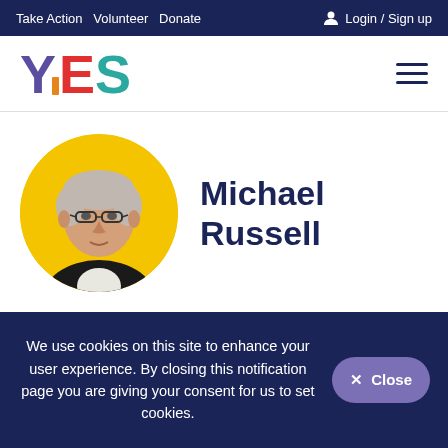Take Action  Volunteer  Donate  Login / Sign up
[Figure (logo): YES logo with colorful letters: Y in purple, E in red, S in teal, with an orange vertical bar accent]
[Figure (photo): Circular portrait photo of Michael Russell, a middle-aged man with grey hair and glasses, wearing a black jacket, on a yellow background]
Michael Russell
We use cookies on this site to enhance your user experience. By closing this notification page you are giving your consent for us to set cookies.